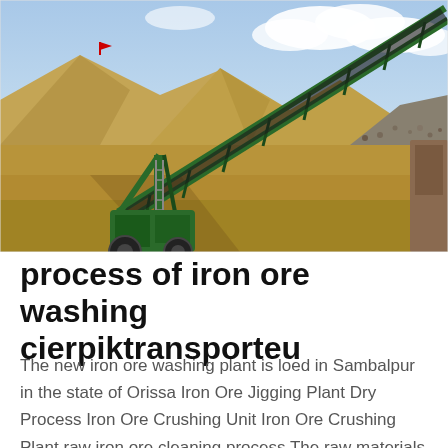[Figure (photo): Photograph of a large green industrial conveyor belt machine at a mining or ore processing site, with large mounds of sand or crushed ore material in the background under a partly cloudy sky.]
process of iron ore washing cierpiktransporteu
The new iron ore washing plant is loed in Sambalpur in the state of Orissa Iron Ore Jigging Plant Dry Process Iron Ore Crushing Unit Iron Ore Crushing Plant raw iron ore cleaning process The raw materials needed ie limestone coke air and